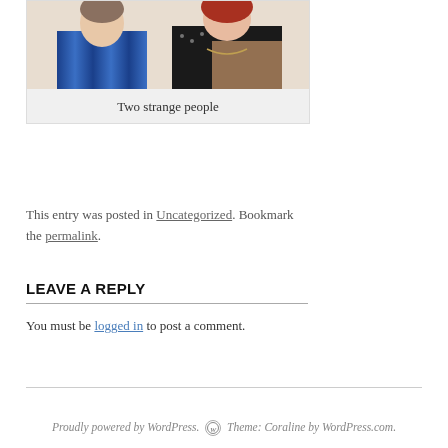[Figure (photo): Photo of two people: a younger person on the left wearing a blue striped shirt and an older person on the right wearing a black sparkly top]
Two strange people
This entry was posted in Uncategorized. Bookmark the permalink.
LEAVE A REPLY
You must be logged in to post a comment.
Proudly powered by WordPress. Theme: Coraline by WordPress.com.